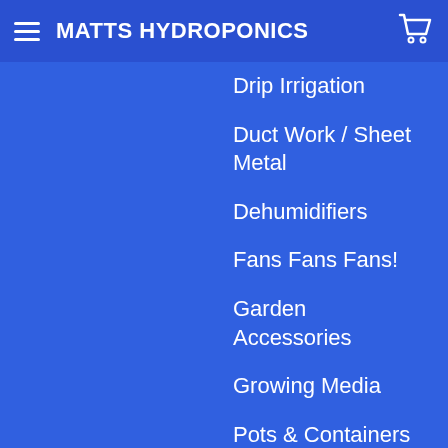MATTS HYDROPONICS
Drip Irrigation
Duct Work / Sheet Metal
Dehumidifiers
Fans Fans Fans!
Garden Accessories
Growing Media
Pots & Containers
Harvest Solutions
Hydroponics
Humidifiers
LED Grow Lights